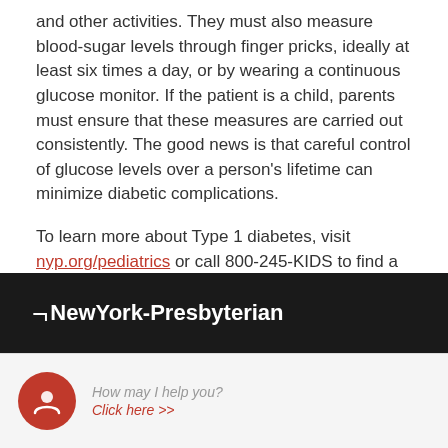and other activities. They must also measure blood-sugar levels through finger pricks, ideally at least six times a day, or by wearing a continuous glucose monitor. If the patient is a child, parents must ensure that these measures are carried out consistently. The good news is that careful control of glucose levels over a person's lifetime can minimize diabetic complications.
To learn more about Type 1 diabetes, visit nyp.org/pediatrics or call 800-245-KIDS to find a pediatric specialist.
NewYork-Presbyterian
How may I help you? Click here >>